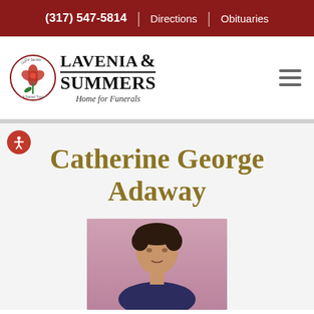(317) 547-5814  |  Directions  |  Obituaries
[Figure (logo): Lavenia & Summers Home for Funerals logo with rose badge and text]
Catherine George Adaway
[Figure (photo): Portrait photo of Catherine George Adaway, a woman with dark hair against a pink/mauve background]